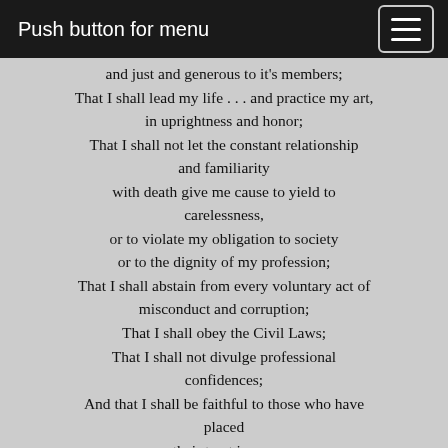Push button for menu
and just and generous to it’s members; That I shall lead my life . . . and practice my art, in uprightness and honor; That I shall not let the constant relationship and familiarity with death give me cause to yield to carelessness, or to violate my obligation to society or to the dignity of my profession; That I shall abstain from every voluntary act of misconduct and corruption; That I shall obey the Civil Laws; That I shall not divulge professional confidences; And that I shall be faithful to those who have placed their trust in me. While I continue to keep this oath unviolated,